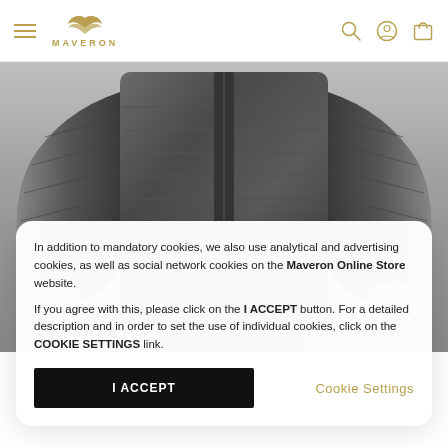MAVERON — navigation header with hamburger menu, logo, search, account, and cart icons
[Figure (photo): Close-up of a person wearing a dark grey/charcoal shiny puffer jacket, showing torso and arms with quilted/baffled panels and zipper details]
In addition to mandatory cookies, we also use analytical and advertising cookies, as well as social network cookies on the Maveron Online Store website.

If you agree with this, please click on the I ACCEPT button. For a detailed description and in order to set the use of individual cookies, click on the COOKIE SETTINGS link.
I ACCEPT
Cookie Settings